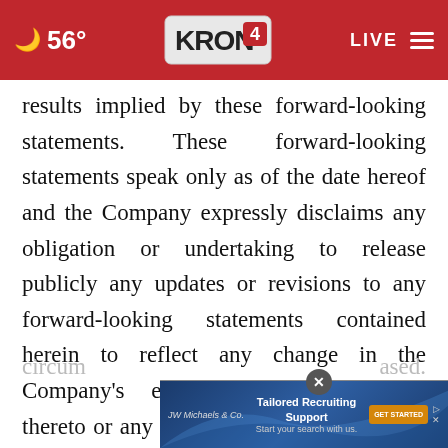56° KRON4 LIVE
results implied by these forward-looking statements. These forward-looking statements speak only as of the date hereof and the Company expressly disclaims any obligation or undertaking to release publicly any updates or revisions to any forward-looking statements contained herein to reflect any change in the Company's expectations with respect thereto or any change in events, conditions or circumstances based.
[Figure (screenshot): Advertisement banner for JW Michaels & Co. with text 'Tailored Recruiting Support - Start your search with us.' and a GET STARTED button]